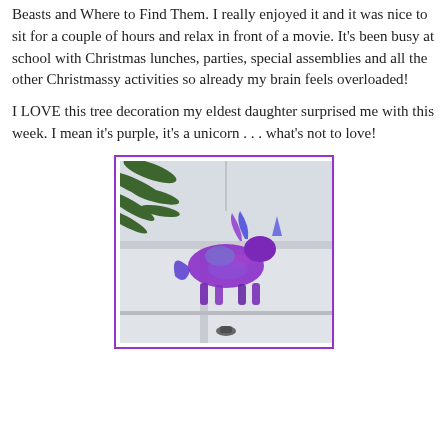Beasts and Where to Find Them. I really enjoyed it and it was nice to sit for a couple of hours and relax in front of a movie. It's been busy at school with Christmas lunches, parties, special assemblies and all the other Christmassy activities so already my brain feels overloaded!
I LOVE this tree decoration my eldest daughter surprised me with this week. I mean it's purple, it's a unicorn . . . what's not to love!
[Figure (photo): A colorful iridescent purple and blue unicorn tree decoration/ornament hanging in front of a window, with green pine branches visible in the upper left corner. The unicorn is metallic and multicolored.]